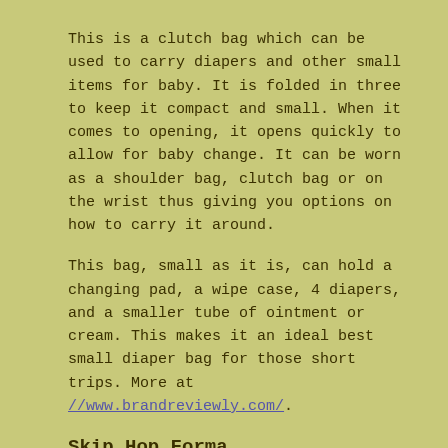This is a clutch bag which can be used to carry diapers and other small items for baby. It is folded in three to keep it compact and small. When it comes to opening, it opens quickly to allow for baby change. It can be worn as a shoulder bag, clutch bag or on the wrist thus giving you options on how to carry it around.
This bag, small as it is, can hold a changing pad, a wipe case, 4 diapers, and a smaller tube of ointment or cream. This makes it an ideal best small diaper bag for those short trips. More at //www.brandreviewly.com/.
Skip Hop Forma
This model of diaper bag is a good value with lots of room to organize your things. It's highly functional and comes in a number of cute patterns to choose from.